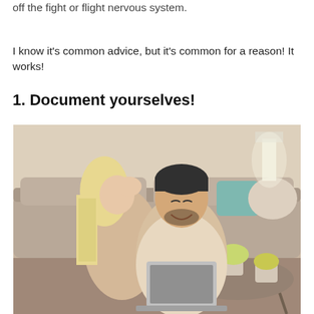you've engaged the body in some slow breaths, and turned off the fight or flight nervous system.
I know it's common advice, but it's common for a reason! It works!
1. Document yourselves!
[Figure (photo): A happy couple sitting on the floor in a living room. A woman with long blonde hair leans in to kiss a smiling dark-haired man on the cheek. The man is laughing and holding a laptop. There are plants and pillows visible in the background.]